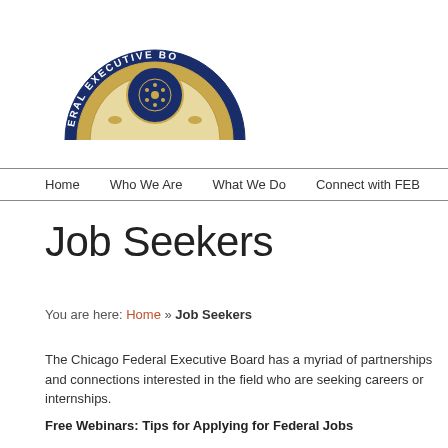[Figure (logo): Federal Executive Board seal/logo — semicircular design with navy blue outer ring reading 'FEDERAL EXECUTIVE BO' and gold inner ring with eagle/emblem in center]
Home   Who We Are   What We Do   Connect with FEB
Job Seekers
You are here: Home » Job Seekers
The Chicago Federal Executive Board has a myriad of partnerships and connections interested in the field who are seeking careers or internships.
Free Webinars: Tips for Applying for Federal Jobs